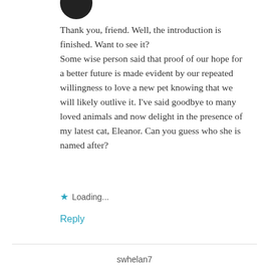[Figure (photo): Partial avatar circle (black profile picture) cropped at top of page]
Thank you, friend. Well, the introduction is finished. Want to see it? Some wise person said that proof of our hope for a better future is made evident by our repeated willingness to love a new pet knowing that we will likely outlive it. I've said goodbye to many loved animals and now delight in the presence of my latest cat, Eleanor. Can you guess who she is named after?
Loading...
Reply
swhelan7